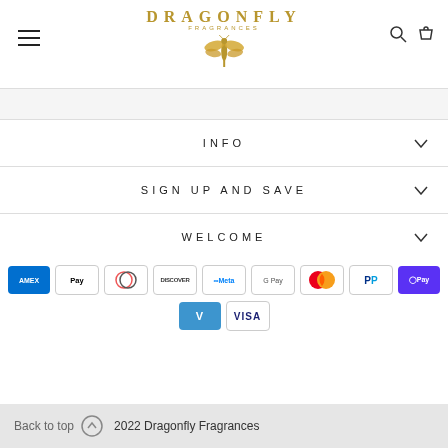DRAGONFLY FRAGRANCES
INFO
SIGN UP AND SAVE
WELCOME
[Figure (other): Payment method icons: Amex, Apple Pay, Diners Club, Discover, Meta, Google Pay, Mastercard, PayPal, ShopPay, Venmo, Visa]
Back to top   2022 Dragonfly Fragrances